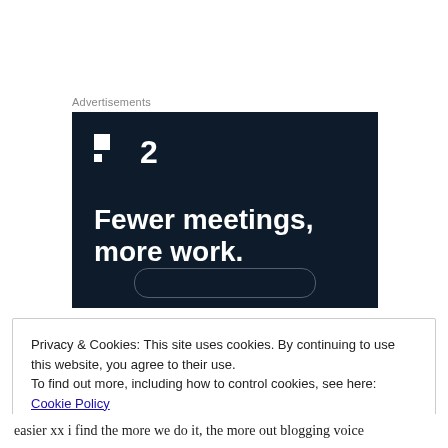Advertisements
[Figure (screenshot): Advertisement banner for a project management tool (P2) with dark navy background. Shows P2 logo with square icon and the text 'Fewer meetings, more work.' in bold white font. A rounded button outline is visible at the bottom.]
Privacy & Cookies: This site uses cookies. By continuing to use this website, you agree to their use.
To find out more, including how to control cookies, see here: Cookie Policy
Close and accept
easier xx i find the more we do it, the more out blogging voice